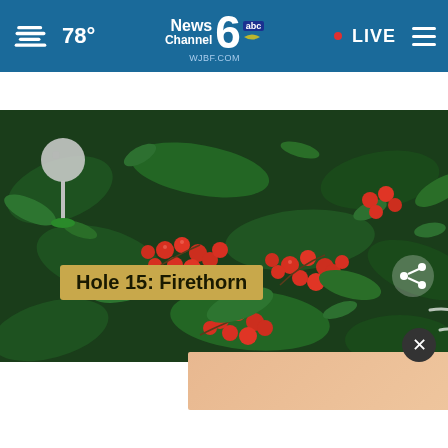78° News Channel 6 abc WJBF.COM • LIVE
Plants that will show their true colors for Novemb...
[Figure (photo): Close-up photograph of firethorn (Pyracantha) plant with bright red/orange berries and dark green leaves, with overlay text 'Hole 15: Firethorn' and a golf tee graphic]
In-store shopping
Curbside pickup